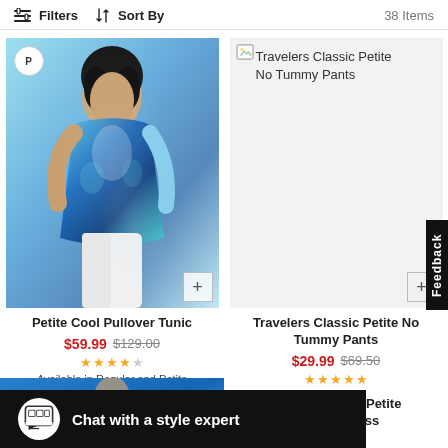Filters  Sort By  38 Items
[Figure (photo): Woman wearing Petite Cool Pullover Tunic in blue floral print, with white pants. Badge P in top left corner. Plus button in bottom right.]
Petite Cool Pullover Tunic
$59.99  $129.00
★★★★☆
Available in Regular and Petite
[Figure (photo): Travelers Classic Petite No Tummy Pants product image (broken/loading). Plus button in bottom right.]
Travelers Classic Petite
No Tummy Pants
Travelers Classic Petite No Tummy Pants
$29.99  $69.50
★★★★½
ern Peasant Petite Maxi Dress
Chat with a style expert